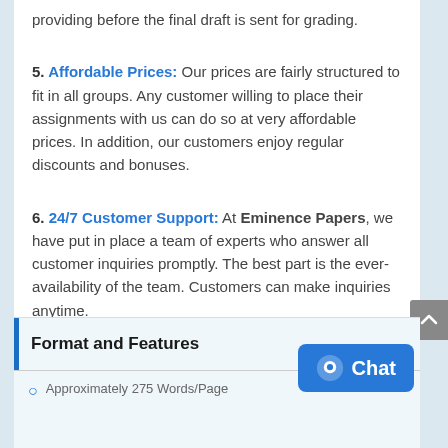providing before the final draft is sent for grading.
5. Affordable Prices: Our prices are fairly structured to fit in all groups. Any customer willing to place their assignments with us can do so at very affordable prices. In addition, our customers enjoy regular discounts and bonuses.
6. 24/7 Customer Support: At Eminence Papers, we have put in place a team of experts who answer all customer inquiries promptly. The best part is the ever-availability of the team. Customers can make inquiries anytime.
Format and Features
Approximately 275 Words/Page